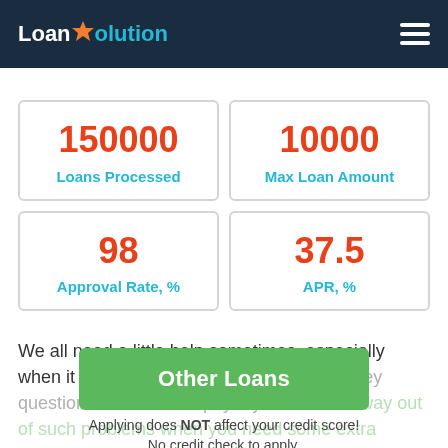LoanSolution
| Metric | Value |
| --- | --- |
| Loans Processed | 150000 |
| Max Loan Amount | 10000 |
| Approval Rate, % | 98 |
| APR, % | 37.5 |
We all need a little help sometimes, especially when it comes to the very complicated money question. Direct lender payday loans are a way out of such problems when you need some extra funds. It's a quick, straightforward service to borrow money quickly. Do not panic if you faced a kind of financial difficulty, think over and try.
Other Loans
Applying does NOT affect your credit score!
No credit check to apply.